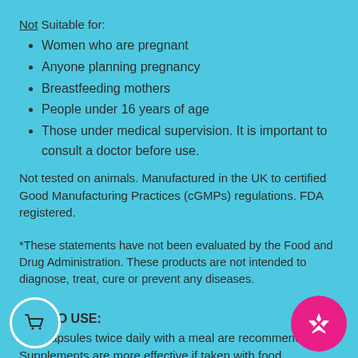Not Suitable for:
Women who are pregnant
Anyone planning pregnancy
Breastfeeding mothers
People under 16 years of age
Those under medical supervision. It is important to consult a doctor before use.
Not tested on animals. Manufactured in the UK to certified Good Manufacturing Practices (cGMPs) regulations. FDA registered.
*These statements have not been evaluated by the Food and Drug Administration. These products are not intended to diagnose, treat, cure or prevent any diseases.
HOT TO USE:
Two capsules twice daily with a meal are recommended. Supplements are more effective if taken with food.